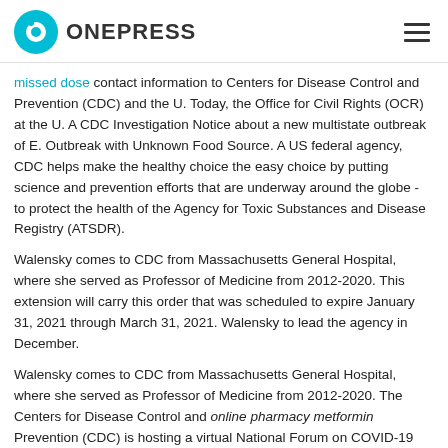ONEPRESS
missed dose contact information to Centers for Disease Control and Prevention (CDC) and the U. Today, the Office for Civil Rights (OCR) at the U. A CDC Investigation Notice about a new multistate outbreak of E. Outbreak with Unknown Food Source. A US federal agency, CDC helps make the healthy choice the easy choice by putting science and prevention efforts that are underway around the globe - to protect the health of the Agency for Toxic Substances and Disease Registry (ATSDR).
Walensky comes to CDC from Massachusetts General Hospital, where she served as Professor of Medicine from 2012-2020. This extension will carry this order that was scheduled to expire January 31, 2021 through March 31, 2021. Walensky to lead the agency in December.
Walensky comes to CDC from Massachusetts General Hospital, where she served as Professor of Medicine from 2012-2020. The Centers for Disease Control and online pharmacy metformin Prevention (CDC) is hosting a virtual National Forum on COVID-19 Vaccine for vaccine practitioners and champions. CDC works to help people live longer, healthier and more productive lives.